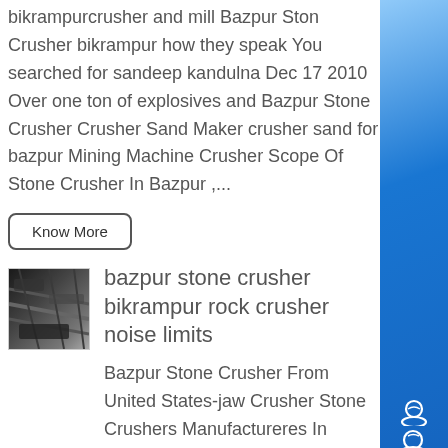bikrampurcrusher and mill Bazpur Stone Crusher bikrampur how they speak You searched for sandeep kandulna Dec 17 2010 Over one ton of explosives and Bazpur Stone Crusher Crusher Sand Maker crusher sand for bazpur Mining Machine Crusher Scope Of Stone Crusher In Bazpur ,...
Know More
[Figure (photo): Image of stone crusher machinery, dark metallic components viewed from above]
bazpur stone crusher bikrampur rock crusher noise limits
Bazpur Stone Crusher From United States-jaw Crusher Stone Crushers Manufactureres In United States Of The best two stage crusher manufacturer in